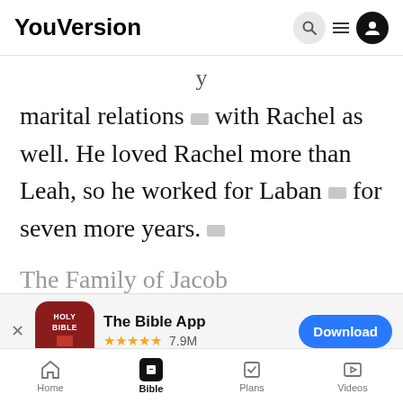YouVersion
marital relations with Rachel as well. He loved Rachel more than Leah, so he worked for Laban for seven more years.
[Figure (screenshot): The Bible App download banner with Holy Bible icon, 5 stars, 7.9M rating count, and Download button]
enabled her to become pregnant
Rachel
pregnant and gave birth to a son. She named
YouVersion uses cookies to personalize your experience. By using our website, you accept our use of cookies as described in our Privacy Policy.
Home  Bible  Plans  Videos